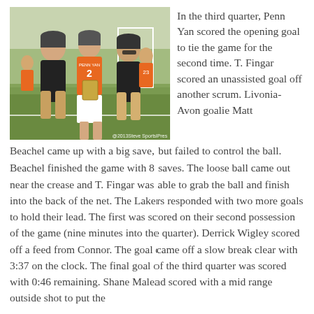[Figure (photo): Three people posing on a lacrosse field. Center person wears orange Penn Yan #2 jersey and holds a plaque. The two flanking people wear black shirts. Photo credit: @2013Steve SportsPres]
In the third quarter, Penn Yan scored the opening goal to tie the game for the second time. T. Fingar scored an unassisted goal off another scrum. Livonia-Avon goalie Matt Beachel came up with a big save, but failed to control the ball. Beachel finished the game with 8 saves. The loose ball came out near the crease and T. Fingar was able to grab the ball and finish into the back of the net. The Lakers responded with two more goals to hold their lead. The first was scored on their second possession of the game (nine minutes into the quarter). Derrick Wigley scored off a feed from Connor. The goal came off a slow break clear with 3:37 on the clock. The final goal of the third quarter was scored with 0:46 remaining. Shane Malead scored with a mid range outside shot to put the